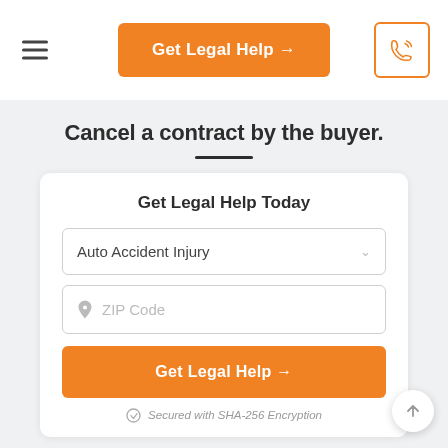Get Legal Help →
Cancel a contract by the buyer.
Get Legal Help Today
Auto Accident Injury
ZIP Code
Get Legal Help →
Secured with SHA-256 Encryption